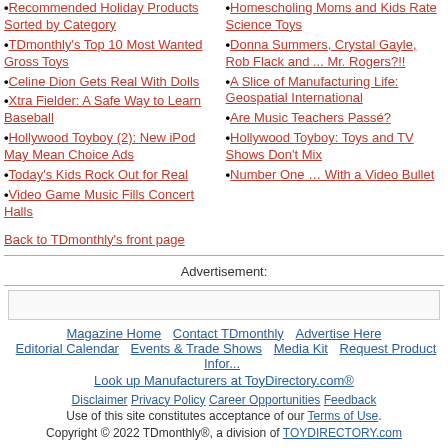Recommended Holiday Products Sorted by Category
TDmonthly's Top 10 Most Wanted Gross Toys
Celine Dion Gets Real With Dolls
Xtra Fielder: A Safe Way to Learn Baseball
Hollywood Toyboy (2): New iPod May Mean Choice Ads
Today's Kids Rock Out for Real
Video Game Music Fills Concert Halls
Homescholing Moms and Kids Rate Science Toys
Donna Summers, Crystal Gayle, Rob Flack and ... Mr. Rogers?!!
A Slice of Manufacturing Life: Geospatial International
Are Music Teachers Passé?
Hollywood Toyboy: Toys and TV Shows Don't Mix
Number One … With a Video Bullet
Back to TDmonthly's front page
Advertisement:
Magazine Home   Contact TDmonthly   Advertise Here   Editorial Calendar   Events & Trade Shows   Media Kit   Request Product Information
Look up Manufacturers at ToyDirectory.com®
Disclaimer   Privacy Policy   Career Opportunities   Feedback
Use of this site constitutes acceptance of our Terms of Use.
Copyright © 2022 TDmonthly®, a division of TOYDIRECTORY.com